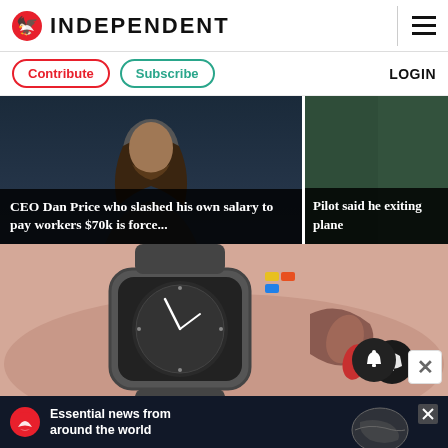INDEPENDENT
Contribute | Subscribe | LOGIN
[Figure (photo): News article card: Man with long hair and beard on dark background. Headline overlay: CEO Dan Price who slashed his own salary to pay workers $70k is force...]
[Figure (photo): News article card: partial view of greenish background. Headline overlay: Pilot said he exiting plane]
[Figure (photo): Close-up photo of a smartwatch on a wrist with small electronic components nearby]
[Figure (infographic): Advertisement banner: The Independent logo with text 'Essential news from around the world' and a globe graphic]